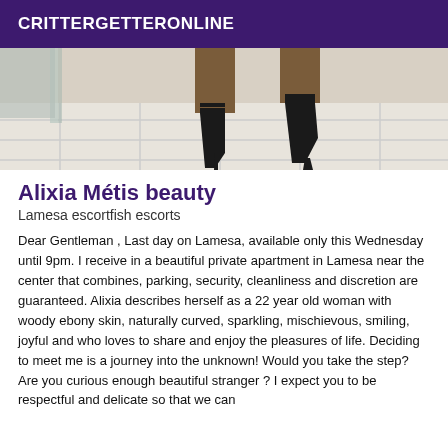CRITTERGETTERONLINE
[Figure (photo): Cropped photo showing the lower legs and feet of a person wearing black high-heel strappy sandals, standing on white tile floor near a glass panel or mirror.]
Alixia Métis beauty
Lamesa escortfish escorts
Dear Gentleman , Last day on Lamesa, available only this Wednesday until 9pm. I receive in a beautiful private apartment in Lamesa near the center that combines, parking, security, cleanliness and discretion are guaranteed. Alixia describes herself as a 22 year old woman with woody ebony skin, naturally curved, sparkling, mischievous, smiling, joyful and who loves to share and enjoy the pleasures of life. Deciding to meet me is a journey into the unknown! Would you take the step? Are you curious enough beautiful stranger ? I expect you to be respectful and delicate so that we can